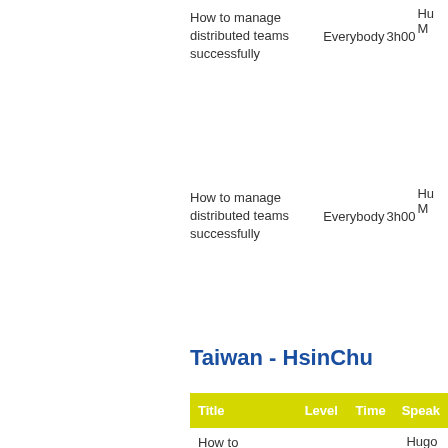How to manage distributed teams successfully    Everybody   3h00   Hu M
How to manage distributed teams successfully    Everybody   3h00   Hu M
Taiwan - HsinChu
| Title | Level | Time | Speak |
| --- | --- | --- | --- |
| How to manage distributed teams successfully | Everybody | 3h00 | Hugo Messe |
Taiwan - Taichung
| Title | Level | Time | Speak |
| --- | --- | --- | --- |
| How to manage distributed teams successfully | Everybody | 3h00 |  |